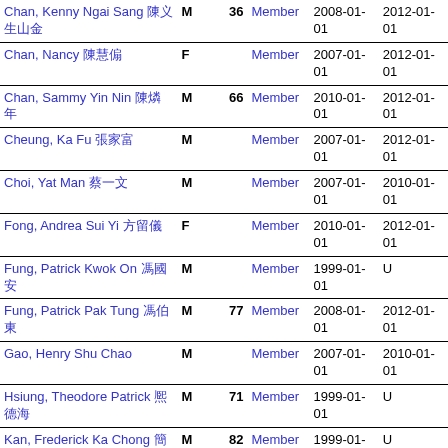| Name | Sex | Age | Role | Start | End |
| --- | --- | --- | --- | --- | --- |
| Chan, Kenny Ngai Sang 呈义生山金 | M | 36 | Member | 2008-01-01 | 2012-01-01 |
| Chan, Nancy 陳慧傓 | F |  | Member | 2007-01-01 | 2012-01-01 |
| Chan, Sammy Yin Nin 陳燐年 | M | 66 | Member | 2010-01-01 | 2012-01-01 |
| Cheung, Ka Fu 張家富 | M |  | Member | 2007-01-01 | 2012-01-01 |
| Choi, Yat Man 蔡一文 | M |  | Member | 2007-01-01 | 2010-01-01 |
| Fong, Andrea Sui Yi 方留儀 | F |  | Member | 2010-01-01 | 2012-01-01 |
| Fung, Patrick Kwok On 馮國安 | M |  | Member | 1999-01-01 | U |
| Fung, Patrick Pak Tung 馮伯東 | M | 77 | Member | 2008-01-01 | 2012-01-01 |
| Gao, Henry Shu Chao | M |  | Member | 2007-01-01 | 2010-01-01 |
| Hsiung, Theodore Patrick 熈德海 | M | 71 | Member | 1999-01-01 | U |
| Kan, Frederick Ka Chong 簡家昌 | M | 82 | Member | 1999-01-01 | U |
| Kaplan, Neil 卡小山 | M |  | Ch | 1999-01-01 | U |